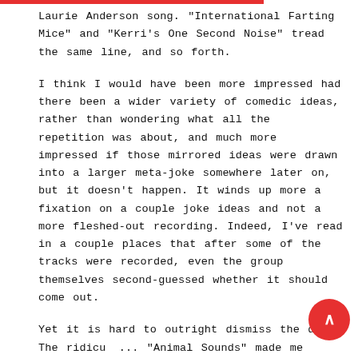Laurie Anderson song. "International Farting Mice" and "Kerri's One Second Noise" tread the same line, and so forth.
I think I would have been more impressed had there been a wider variety of comedic ideas, rather than wondering what all the repetition was about, and much more impressed if those mirrored ideas were drawn into a larger meta-joke somewhere later on, but it doesn't happen. It winds up more a fixation on a couple joke ideas and not a more fleshed-out recording. Indeed, I've read in a couple places that after some of the tracks were recorded, even the group themselves second-guessed whether it should come out.
Yet it is hard to outright dismiss the disc. The ridiculo... "Animal Sounds" made me laugh out loud, even when the